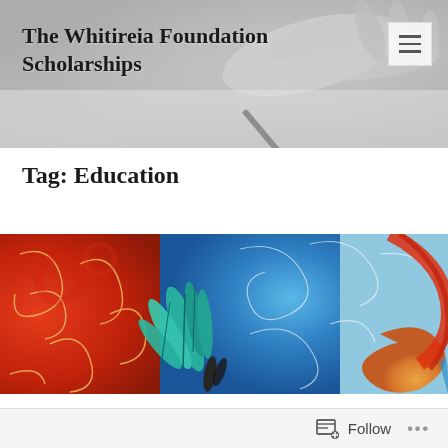The Whitireia Foundation Scholarships
Tag: Education
[Figure (photo): Colorful Māori-inspired artwork featuring red and blue swirling patterns with teal feathers]
Follow ...